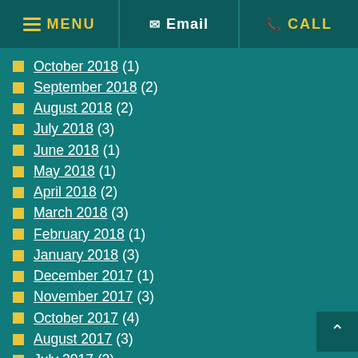MENU | Email | CALL
October 2018 (1)
September 2018 (2)
August 2018 (2)
July 2018 (3)
June 2018 (1)
May 2018 (1)
April 2018 (2)
March 2018 (3)
February 2018 (1)
January 2018 (3)
December 2017 (1)
November 2017 (3)
October 2017 (4)
August 2017 (3)
July 2017 (2)
May 2017 (2)